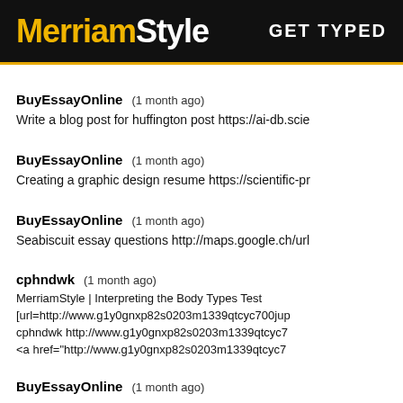MerriamStyle  GET TYPED
BuyEssayOnline (1 month ago)
Write a blog post for huffington post https://ai-db.scie...
BuyEssayOnline (1 month ago)
Creating a graphic design resume https://scientific-pr...
BuyEssayOnline (1 month ago)
Seabiscuit essay questions http://maps.google.ch/url...
cphndwk (1 month ago)
MerriamStyle | Interpreting the Body Types Test
[url=http://www.g1y0gnxp82s0203m1339qtcyc700jup...
cphndwk http://www.g1y0gnxp82s0203m1339qtcyc7...
<a href="http://www.g1y0gnxp82s0203m1339qtcyc7...
BuyEssayOnline (1 month ago)